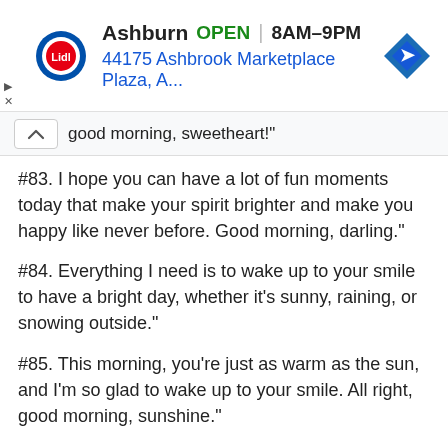[Figure (screenshot): Lidl store ad banner showing Ashburn location, OPEN 8AM-9PM, 44175 Ashbrook Marketplace Plaza A..., with navigation arrow icon]
good morning, sweetheart!"
#83. I hope you can have a lot of fun moments today that make your spirit brighter and make you happy like never before. Good morning, darling."
#84. Everything I need is to wake up to your smile to have a bright day, whether it's sunny, raining, or snowing outside."
#85. This morning, you're just as warm as the sun, and I'm so glad to wake up to your smile. All right, good morning, sunshine."
#86. Every morning, waking up next to you was a dream